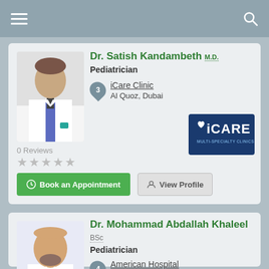Dr. Satish Kandambeth M.D.
Pediatrician
iCare Clinic
Al Quoz, Dubai
0 Reviews
[Figure (photo): Photo of Dr. Satish Kandambeth in white coat]
[Figure (logo): iCare Multi-Specialty Clinics logo — blue rectangle with white iCARE text]
Book an Appointment
View Profile
Dr. Mohammad Abdallah Khaleel
BSc
Pediatrician
American Hospital
Oud Metha, Dubai
[Figure (photo): Photo of Dr. Mohammad Abdallah Khaleel in white coat]